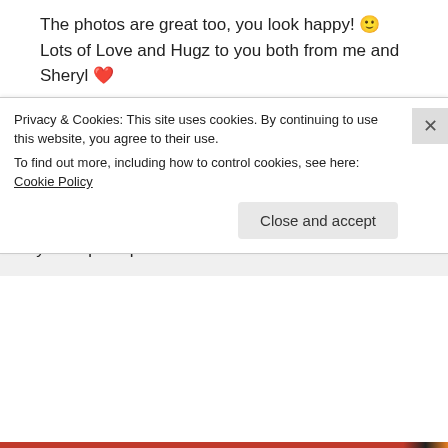The photos are great too, you look happy! 🙂 Lots of Love and Hugz to you both from me and Sheryl ❤
↳ Reply
philipfontana on November 18, 2015 at 11:32 am
Patty, Thank you as always for being so supportive of my infrequent post efforts
Privacy & Cookies: This site uses cookies. By continuing to use this website, you agree to their use.
To find out more, including how to control cookies, see here: Cookie Policy
Close and accept